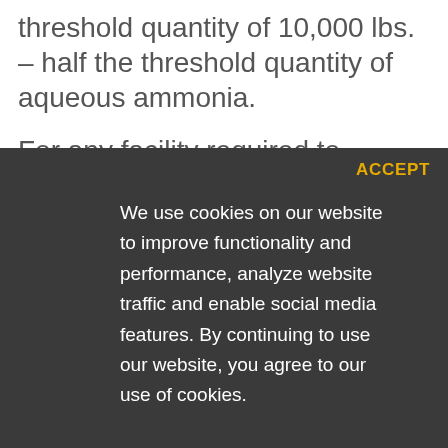threshold quantity of 10,000 lbs. – half the threshold quantity of aqueous ammonia.
For any facility required to submit and implement a RMP, the facility must...
ACCEPT
We use cookies on our website to improve functionality and performance, analyze website traffic and enable social media features. By continuing to use our website, you agree to our use of cookies.